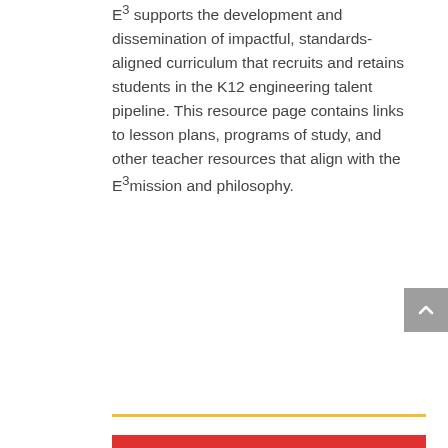E³ supports the development and dissemination of impactful, standards-aligned curriculum that recruits and retains students in the K12 engineering talent pipeline. This resource page contains links to lesson plans, programs of study, and other teacher resources that align with the E³ mission and philosophy.
[Figure (other): Blue rounded button with white bold text 'Learn more about Resources for Teachers' and a white circle with a plus icon on the right]